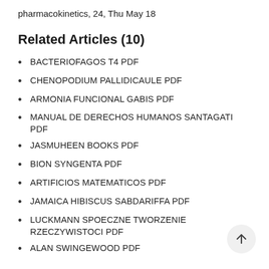pharmacokinetics, 24, Thu May 18
Related Articles (10)
BACTERIOFAGOS T4 PDF
CHENOPODIUM PALLIDICAULE PDF
ARMONIA FUNCIONAL GABIS PDF
MANUAL DE DERECHOS HUMANOS SANTAGATI PDF
JASMUHEEN BOOKS PDF
BION SYNGENTA PDF
ARTIFICIOS MATEMATICOS PDF
JAMAICA HIBISCUS SABDARIFFA PDF
LUCKMANN SPOECZNE TWORZENIE RZECZYWISTOCI PDF
ALAN SWINGEWOOD PDF